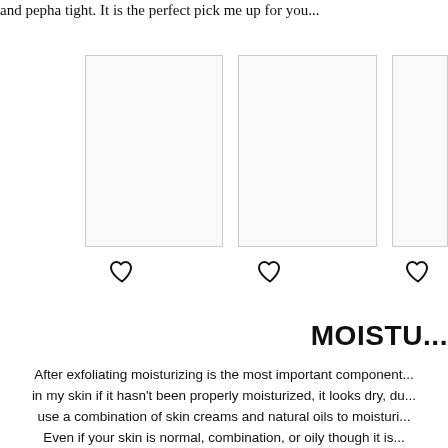and pepha tight. It is the perfect pick me up for you...
[Figure (photo): Three product image placeholders shown as white/light gray rectangles with thin borders, arranged in a horizontal row. Two full rectangles visible and one partially cropped on the right.]
[Figure (illustration): Three heart/favorite icons (outline style) displayed below the product images, one beneath each image.]
MOISTU...
After exfoliating moisturizing is the most important component... in my skin if it hasn't been properly moisturized, it looks dry, du... use a combination of skin creams and natural oils to moisturi... Even if your skin is normal, combination, or oily though it is...